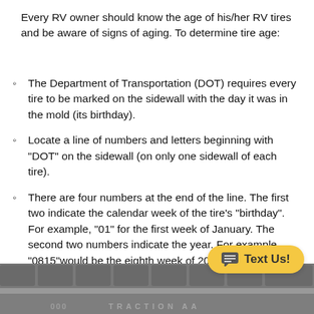Every RV owner should know the age of his/her RV tires and be aware of signs of aging. To determine tire age:
The Department of Transportation (DOT) requires every tire to be marked on the sidewall with the day it was in the mold (its birthday).
Locate a line of numbers and letters beginning with "DOT" on the sidewall (on only one sidewall of each tire).
There are four numbers at the end of the line. The first two indicate the calendar week of the tire's "birthday". For example, "01" for the first week of January. The second two numbers indicate the year. For example, "0815"would be the eighth week of 2015.
[Figure (photo): Close-up photo of a tire sidewall showing tire tread and partial text 'TRACTION AA']